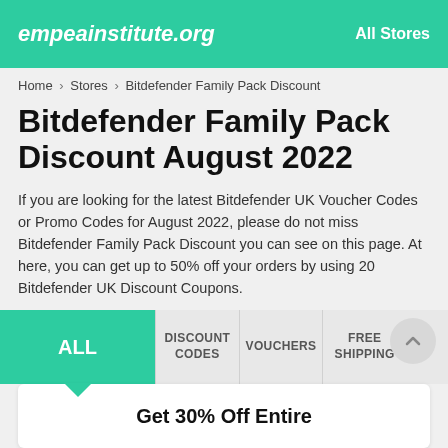empeainstitute.org   All Stores
Home > Stores > Bitdefender Family Pack Discount
Bitdefender Family Pack Discount August 2022
If you are looking for the latest Bitdefender UK Voucher Codes or Promo Codes for August 2022, please do not miss Bitdefender Family Pack Discount you can see on this page. At here, you can get up to 50% off your orders by using 20 Bitdefender UK Discount Coupons.
ALL   DISCOUNT CODES   VOUCHERS   FREE SHIPPING
Get 30% Off Entire